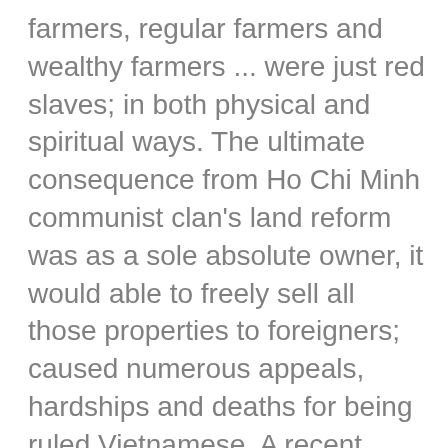farmers, regular farmers and wealthy farmers ... were just red slaves; in both physical and spiritual ways. The ultimate consequence from Ho Chi Minh communist clan's land reform was as a sole absolute owner, it would able to freely sell all those properties to foreigners; caused numerous appeals, hardships and deaths for being ruled Vietnamese. A recent typical victim was the family of Doan Van Vuon. This case is forgotten now from the memories of faked "democracy, oppositional and independent media" activists; as well as international human rights activists.